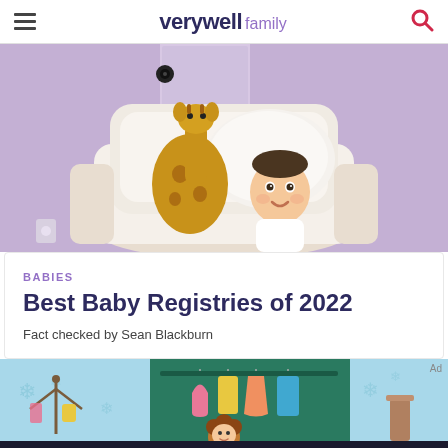verywell family
[Figure (photo): Baby sitting in a cream armchair holding a giraffe stuffed animal, lavender room background]
BABIES
Best Baby Registries of 2022
Fact checked by Sean Blackburn
[Figure (illustration): Illustrated scene of a person with brown curly hair looking at colorful clothes hanging on a rack, light blue background with decorative elements, Ad label in corner]
[Figure (logo): Dotdash Meredith logo with red D circle and colorful flower icon on dark banner. Text: We help people find answers, solve problems and get inspired.]